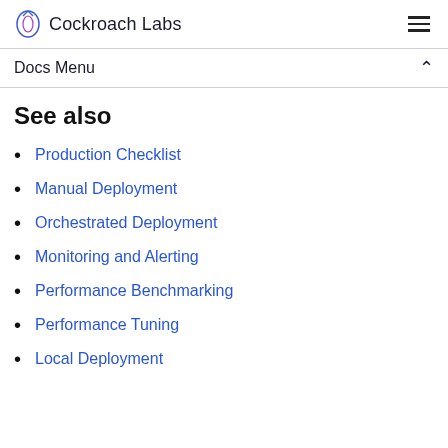Cockroach Labs
Docs Menu
See also
Production Checklist
Manual Deployment
Orchestrated Deployment
Monitoring and Alerting
Performance Benchmarking
Performance Tuning
Local Deployment